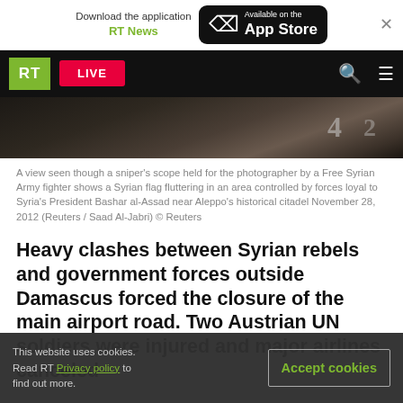Download the application RT News | Available on the App Store
[Figure (screenshot): RT news website navigation bar with green RT logo, red LIVE button, search and menu icons on black background, with a partially visible hero image below showing blurred scene through a sniper scope]
A view seen though a sniper's scope held for the photographer by a Free Syrian Army fighter shows a Syrian flag fluttering in an area controlled by forces loyal to Syria's President Bashar al-Assad near Aleppo's historical citadel November 28, 2012 (Reuters / Saad Al-Jabri) © Reuters
Heavy clashes between Syrian rebels and government forces outside Damascus forced the closure of the main airport road. Two Austrian UN soldiers were injured and major airlines canceled
This website uses cookies. Read RT Privacy policy to find out more.